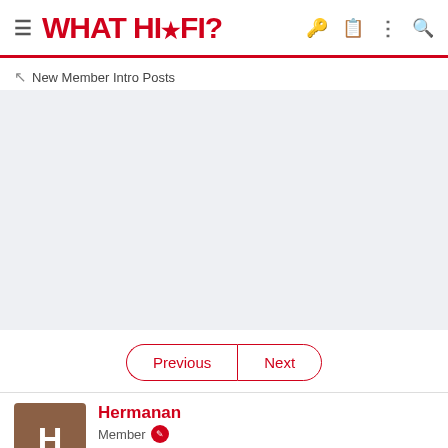WHAT HI·FI?
New Member Intro Posts
Previous | Next
Hermanan
Member
Jan 21, 2021  4  0  20
Jan 21, 2021  #1